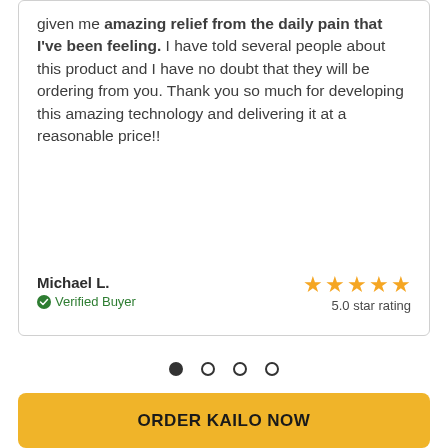given me amazing relief from the daily pain that I've been feeling. I have told several people about this product and I have no doubt that they will be ordering from you. Thank you so much for developing this amazing technology and delivering it at a reasonable price!!
Michael L. — Verified Buyer — 5.0 star rating
[Figure (other): Carousel pagination dots: 4 dots, first filled (active), rest empty circles]
ORDER KAILO NOW